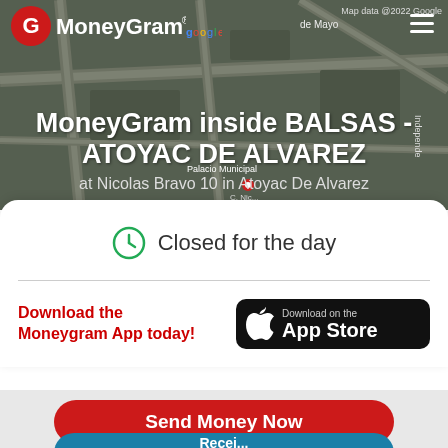[Figure (screenshot): MoneyGram website header with map background showing Atoyac De Alvarez location, MoneyGram logo, and hamburger menu]
MoneyGram inside BALSAS - ATOYAC DE ALVAREZ
at Nicolas Bravo 10 in Atoyac De Alvarez
Closed for the day
Download the Moneygram App today!
[Figure (logo): Download on the App Store button]
Send Money Now